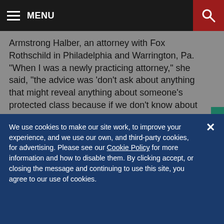MENU
Armstrong Halber, an attorney with Fox Rothschild in Philadelphia and Warrington, Pa. "When I was a newly practicing attorney," she said, "the advice was 'don't ask about anything that might reveal anything about someone's protected class because if we don't know about it, we won't be discriminating.' "
But in today's climate of inclusion, employers want to know about people and honor their differences.
We use cookies to make our site work, to improve your experience, and we use our own, and third-party cookies, for advertising. Please see our Cookie Policy for more information and how to disable them. By clicking accept, or closing the message and continuing to use this site, you agree to our use of cookies.
ACCEPT